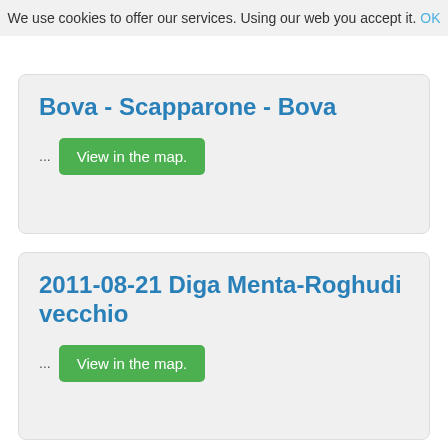We use cookies to offer our services. Using our web you accept it.   OK
Bova - Scapparone - Bova
... View in the map.
2011-08-21 Diga Menta-Roghudi vecchio
... View in the map.